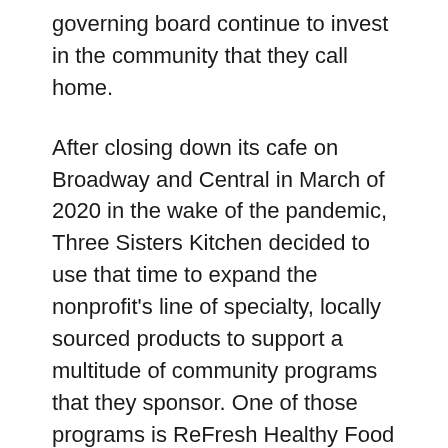governing board continue to invest in the community that they call home.
After closing down its cafe on Broadway and Central in March of 2020 in the wake of the pandemic, Three Sisters Kitchen decided to use that time to expand the nonprofit’s line of specialty, locally sourced products to support a multitude of community programs that they sponsor. One of those programs is ReFresh Healthy Food Access Program, which provides training and food to food-insecure households throughout Albuquerque.
“It was a way to keep as many of our restaurant team working as we could, to keep buying as